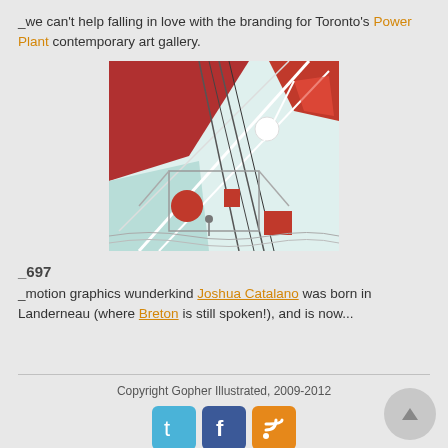_we can't help falling in love with the branding for Toronto's Power Plant contemporary art gallery.
[Figure (illustration): Abstract illustration in red, white and teal showing architectural/industrial geometric forms, diagonal lines, circles, and abstract shapes in a bold graphic style.]
_697
_motion graphics wunderkind Joshua Catalano was born in Landerneau (where Breton is still spoken!), and is now...
Copyright Gopher Illustrated, 2009-2012